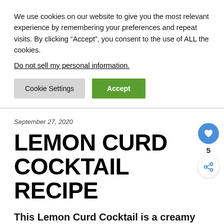We use cookies on our website to give you the most relevant experience by remembering your preferences and repeat visits. By clicking “Accept”, you consent to the use of ALL the cookies.
Do not sell my personal information.
Cookie Settings | Accept
September 27, 2020
LEMON CURD COCKTAIL RECIPE
This Lemon Curd Cocktail is a creamy and delicious drink made with homemade lemon